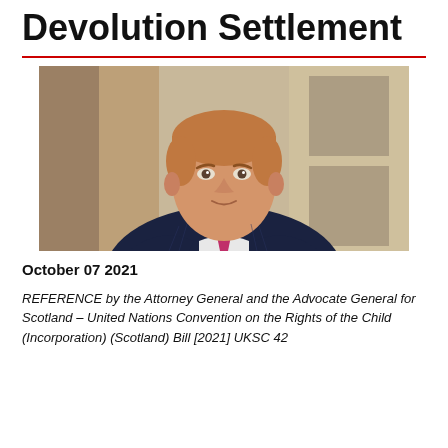Devolution Settlement
[Figure (photo): Professional headshot of a young man with short auburn hair, wearing a dark pinstripe suit and a pink/magenta tie, with a blurred background.]
October 07 2021
REFERENCE by the Attorney General and the Advocate General for Scotland – United Nations Convention on the Rights of the Child (Incorporation) (Scotland) Bill [2021] UKSC 42